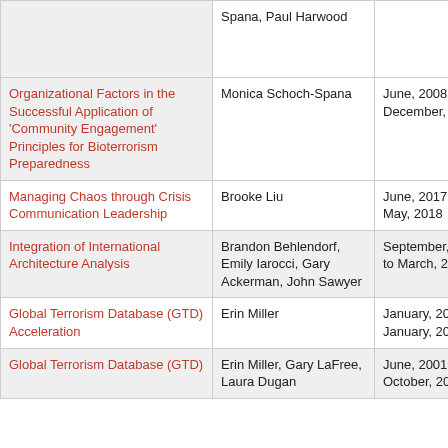| Project Title | Principal Investigator(s) | Period |
| --- | --- | --- |
| [partial row] Spana, Paul Harwood |  |  |
| Organizational Factors in the Successful Application of 'Community Engagement' Principles for Bioterrorism Preparedness | Monica Schoch-Spana | June, 2008 to December, 2011 |
| Managing Chaos through Crisis Communication Leadership | Brooke Liu | June, 2017 to May, 2018 |
| Integration of International Architecture Analysis | Brandon Behlendorf, Emily Iarocci, Gary Ackerman, John Sawyer | September, 2013 to March, 2015 |
| Global Terrorism Database (GTD) Acceleration | Erin Miller | January, 2019 to January, 2020 |
| Global Terrorism Database (GTD) | Erin Miller, Gary LaFree, Laura Dugan | June, 2001 to October, 2022 |